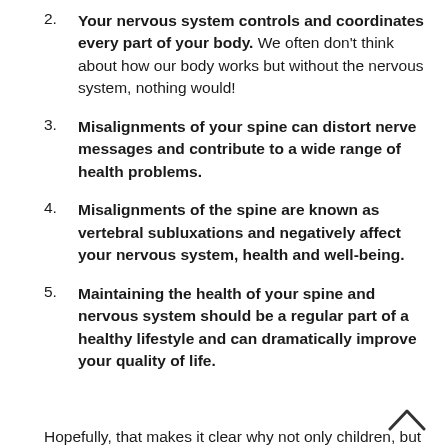2. Your nervous system controls and coordinates every part of your body. We often don't think about how our body works but without the nervous system, nothing would!
3. Misalignments of your spine can distort nerve messages and contribute to a wide range of health problems.
4. Misalignments of the spine are known as vertebral subluxations and negatively affect your nervous system, health and well-being.
5. Maintaining the health of your spine and nervous system should be a regular part of a healthy lifestyle and can dramatically improve your quality of life.
Hopefully, that makes it clear why not only children, but